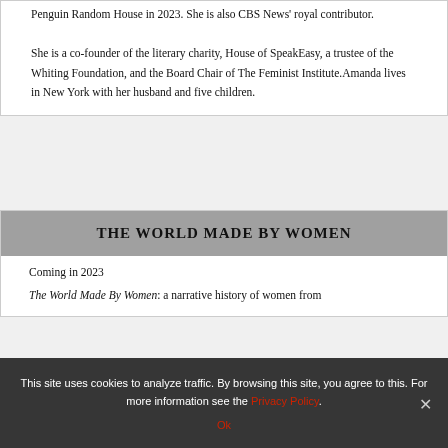Penguin Random House in 2023. She is also CBS News' royal contributor.
She is a co-founder of the literary charity, House of SpeakEasy, a trustee of the Whiting Foundation, and the Board Chair of The Feminist Institute. Amanda lives in New York with her husband and five children.
THE WORLD MADE BY WOMEN
Coming in 2023
The World Made By Women: a narrative history of women from
This site uses cookies to analyze traffic. By browsing this site, you agree to this. For more information see the Privacy Policy. Ok